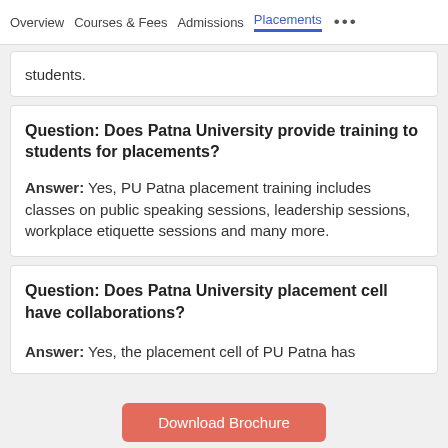Overview | Courses & Fees | Admissions | Placements ...
students.
Question: Does Patna University provide training to students for placements?
Answer: Yes, PU Patna placement training includes classes on public speaking sessions, leadership sessions, workplace etiquette sessions and many more.
Question: Does Patna University placement cell have collaborations?
Answer: Yes, the placement cell of PU Patna has